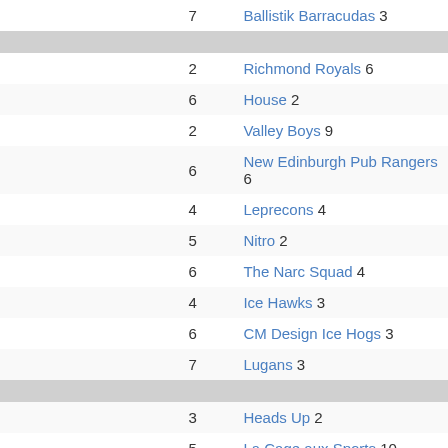|  | Score | Team |
| --- | --- | --- |
|  | 7 | Ballistik Barracudas 3 |
| DIVIDER |  |  |
|  | 2 | Richmond Royals 6 |
|  | 6 | House 2 |
|  | 2 | Valley Boys 9 |
|  | 6 | New Edinburgh Pub Rangers 6 |
|  | 4 | Leprecons 4 |
|  | 5 | Nitro 2 |
|  | 6 | The Narc Squad 4 |
|  | 4 | Ice Hawks 3 |
|  | 6 | CM Design Ice Hogs 3 |
|  | 7 | Lugans 3 |
| DIVIDER |  |  |
|  | 3 | Heads Up 2 |
|  | 5 | La Cage aux Sports 10 |
|  | 3 | Pontiac Icemen 3 |
|  | 5 | Mr. Ts A-Team 8 |
|  | 3 | Limestone City Lifers 4 |
|  | 4 | Ice Hawks 1 |